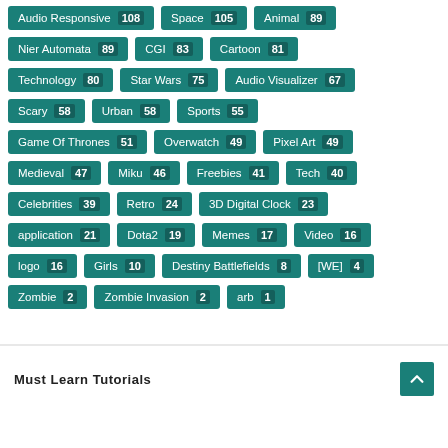Audio Responsive 108
Space 105
Animal 89
Nier Automata 89
CGI 83
Cartoon 81
Technology 80
Star Wars 75
Audio Visualizer 67
Scary 58
Urban 58
Sports 55
Game Of Thrones 51
Overwatch 49
Pixel Art 49
Medieval 47
Miku 46
Freebies 41
Tech 40
Celebrities 39
Retro 24
3D Digital Clock 23
application 21
Dota2 19
Memes 17
Video 16
logo 16
Girls 10
Destiny Battlefields 8
[WE] 4
Zombie 2
Zombie Invasion 2
arb 1
Must Learn Tutorials